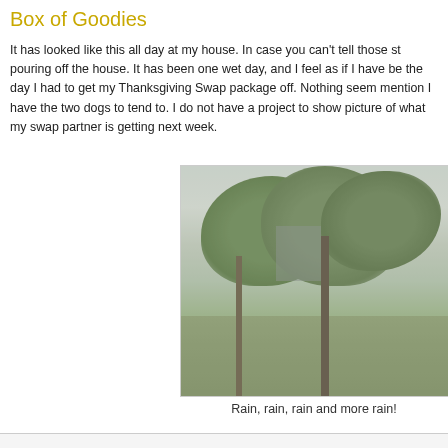Box of Goodies
It has looked like this all day at my house. In case you can't tell those st... pouring off the house. It has been one wet day, and I feel as if I have be... the day I had to get my Thanksgiving Swap package off. Nothing seem... mention I have the two dogs to tend to. I do not have a project to show... picture of what my swap partner is getting next week.
[Figure (photo): Rainy outdoor scene with trees and green grass, misty and wet weather]
Rain, rain, rain and more rain!